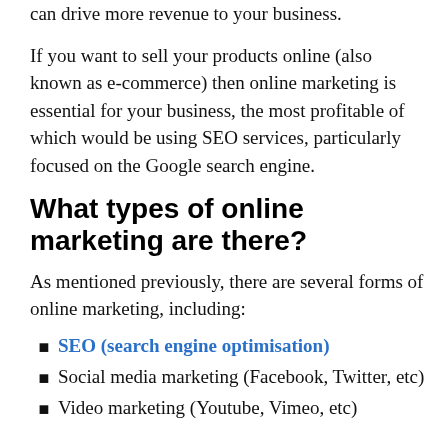can drive more revenue to your business.
If you want to sell your products online (also known as e-commerce) then online marketing is essential for your business, the most profitable of which would be using SEO services, particularly focused on the Google search engine.
What types of online marketing are there?
As mentioned previously, there are several forms of online marketing, including:
SEO (search engine optimisation)
Social media marketing (Facebook, Twitter, etc)
Video marketing (Youtube, Vimeo, etc)